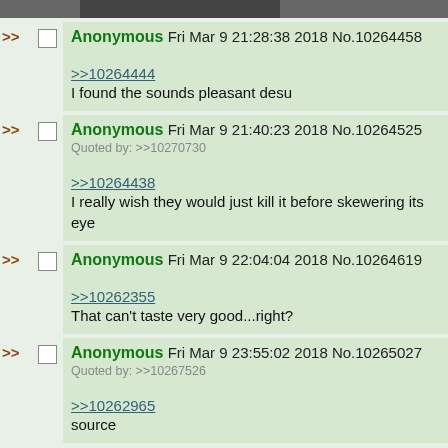[Figure (photo): Partial top image, dark/grey, cropped at top of page]
>> Anonymous Fri Mar 9 21:28:38 2018 No.10264458
>>10264444
I found the sounds pleasant desu
>> Anonymous Fri Mar 9 21:40:23 2018 No.10264525
Quoted by: >>10270730
>>10264438
I really wish they would just kill it before skewering its eye
>> Anonymous Fri Mar 9 22:04:04 2018 No.10264619
>>10262355
That can't taste very good...right?
>> Anonymous Fri Mar 9 23:55:02 2018 No.10265027
Quoted by: >>10267526
>>10262965
source